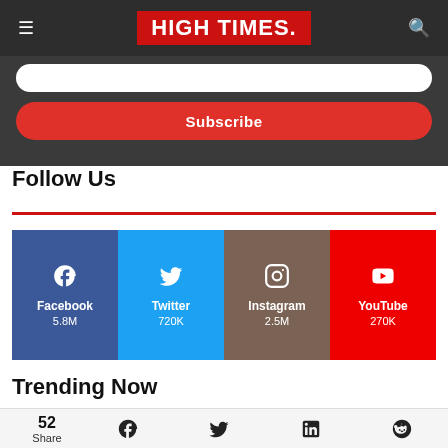HIGH TIMES
Subscribe
Follow Us
[Figure (infographic): Four social media boxes: Facebook 5.8M (blue), Twitter 720K (light blue), Instagram 2.5M (brown), YouTube 270K (red)]
Trending Now
52 Share — social share icons: Facebook, Twitter, LinkedIn, Reddit